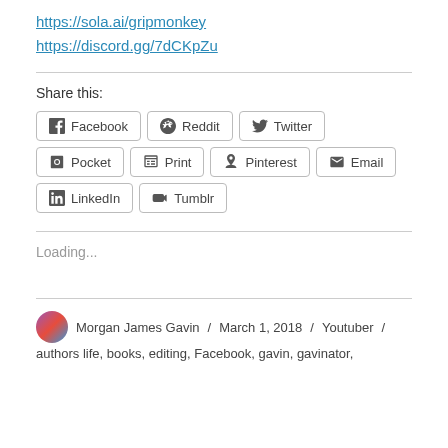https://sola.ai/gripmonkey
https://discord.gg/7dCKpZu
Share this:
Facebook  Reddit  Twitter  Pocket  Print  Pinterest  Email  LinkedIn  Tumblr
Loading...
Morgan James Gavin / March 1, 2018 / Youtuber / authors life, books, editing, Facebook, gavin, gavinator,